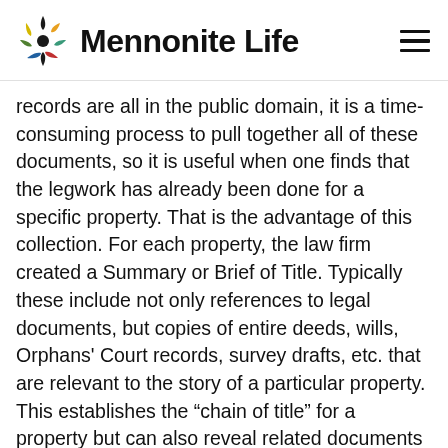Mennonite Life
records are all in the public domain, it is a time-consuming process to pull together all of these documents, so it is useful when one finds that the legwork has already been done for a specific property. That is the advantage of this collection. For each property, the law firm created a Summary or Brief of Title. Typically these include not only references to legal documents, but copies of entire deeds, wills, Orphans’ Court records, survey drafts, etc. that are relevant to the story of a particular property. This establishes the “chain of title” for a property but can also reveal related documents that may be of interest to the